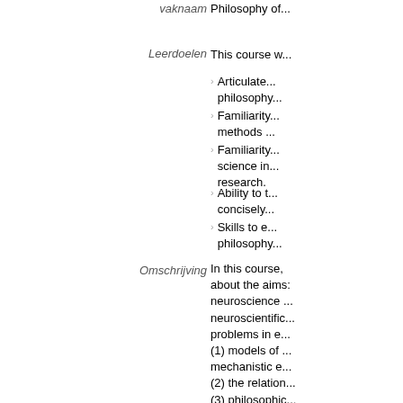vaknaam
Philosophy of...
Leerdoelen
This course w...
Articulate... philosophy...
Familiarity... methods ...
Familiarity... science in... research.
Ability to t... concisely...
Skills to e... philosophy...
Omschrijving
In this course, about the aims: neuroscience ... neuroscientific... problems in e... (1) models of ... mechanistic e... (2) the relation... (3) philosophic... and (4) ethical iss...